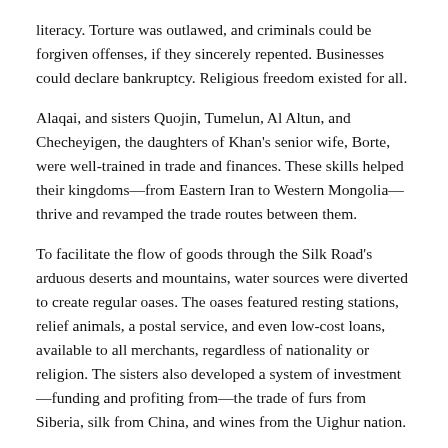literacy. Torture was outlawed, and criminals could be forgiven offenses, if they sincerely repented. Businesses could declare bankruptcy. Religious freedom existed for all.
Alaqai, and sisters Quojin, Tumelun, Al Altun, and Checheyigen, the daughters of Khan's senior wife, Borte, were well-trained in trade and finances. These skills helped their kingdoms—from Eastern Iran to Western Mongolia—thrive and revamped the trade routes between them.
To facilitate the flow of goods through the Silk Road's arduous deserts and mountains, water sources were diverted to create regular oases. The oases featured resting stations, relief animals, a postal service, and even low-cost loans, available to all merchants, regardless of nationality or religion. The sisters also developed a system of investment—funding and profiting from—the trade of furs from Siberia, silk from China, and wines from the Uighur nation.
Alaqai ruled until her death in 1230, without another rebellion.